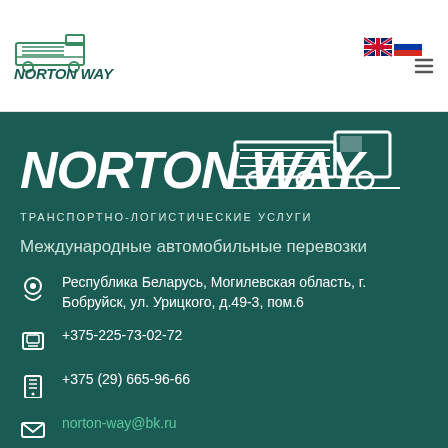[Figure (logo): Norton Way logo with truck icon, small version in white header bar]
[Figure (logo): UK and Russian flag icons plus hamburger menu in top right of header]
[Figure (logo): Norton Way large white logo on dark teal background with truck silhouette]
ТРАНСПОРТНО-ЛОГИСТИЧЕСКИЕ УСЛУГИ
Международные автомобильные перевозки
Республика Беларусь, Могилевская область, г. Бобруйск, ул. Урицкого, д.49-3, пом.6
+375-225-73-02-72
+375 (29) 665-96-66
norton-way@bk.ru